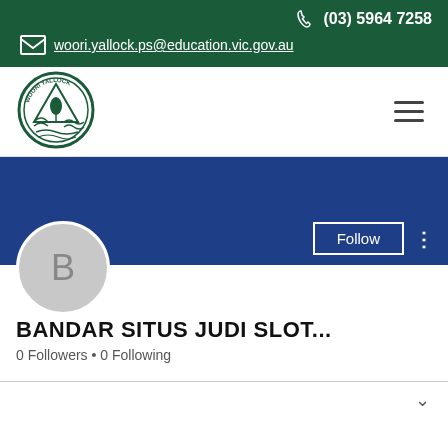(03) 5964 7258  woori.yallock.ps@education.vic.gov.au
[Figure (logo): Woori Yallock Primary School circular crest logo with tree and landscape design in dark green]
BANDAR SITUS JUDI SLOT...
0 Followers • 0 Following